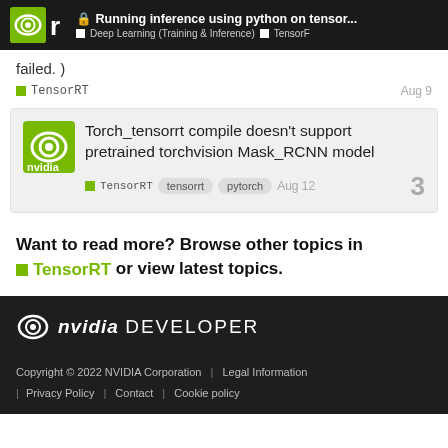Running inference using python on tensor... | Deep Learning (Training & Inference) | TensorF
failed. )
TensorRT  Aug 9
Torch_tensorrt compile doesn't support pretrained torchvision Mask_RCNN model
TensorRT  tensorrt  pytorch  Aug 12  3
Want to read more? Browse other topics in TensorRT or view latest topics.
NVIDIA DEVELOPER
Copyright © 2022 NVIDIA Corporation | Legal Information | Privacy Policy | Contact | Cookie policy